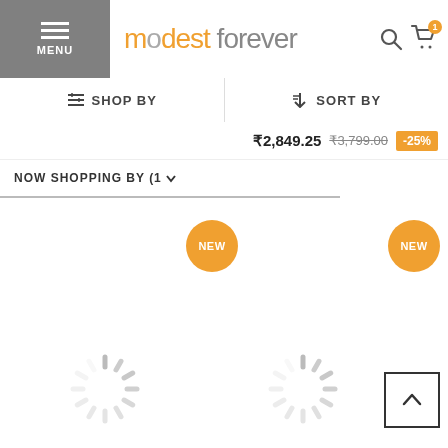[Figure (screenshot): Modest Forever e-commerce website header with menu button, logo, search and cart icons]
SHOP BY
SORT BY
₹2,849.25  ₹3,799.00  -25%
NOW SHOPPING BY (1)
[Figure (illustration): Two orange NEW badge circles and two loading spinner animations on product grid, with back-to-top button]